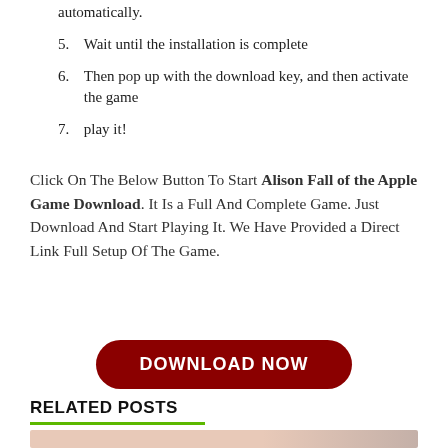automatically.
5. Wait until the installation is complete
6. Then pop up with the download key, and then activate the game
7. play it!
Click On The Below Button To Start Alison Fall of the Apple Game Download. It Is a Full And Complete Game. Just Download And Start Playing It. We Have Provided a Direct Link Full Setup Of The Game.
[Figure (other): Dark red rounded rectangle button with white bold uppercase text: DOWNLOAD NOW]
RELATED POSTS
[Figure (photo): Partial view of a colorful image strip at the bottom of the page]